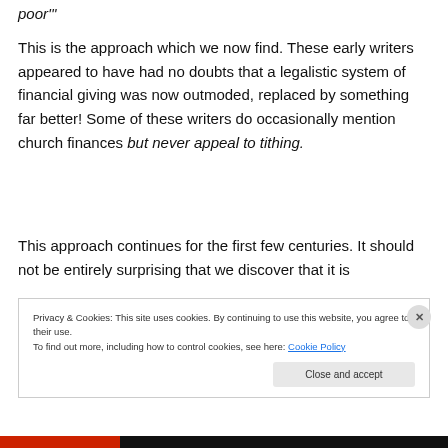poor'"
This is the approach which we now find. These early writers appeared to have had no doubts that a legalistic system of financial giving was now outmoded, replaced by something far better! Some of these writers do occasionally mention church finances but never appeal to tithing.
This approach continues for the first few centuries. It should not be entirely surprising that we discover that it is
Privacy & Cookies: This site uses cookies. By continuing to use this website, you agree to their use. To find out more, including how to control cookies, see here: Cookie Policy
Close and accept